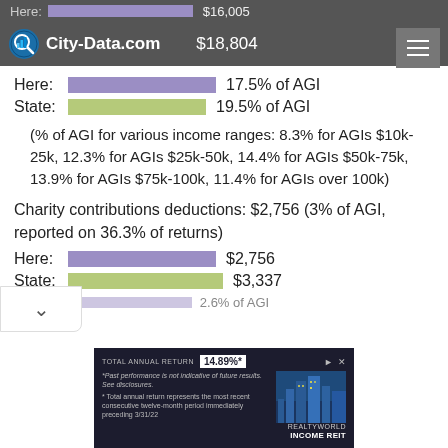City-Data.com — $18,804
Here: 17.5% of AGI
State: 19.5% of AGI
(% of AGI for various income ranges: 8.3% for AGIs $10k-25k, 12.3% for AGIs $25k-50k, 14.4% for AGIs $50k-75k, 13.9% for AGIs $75k-100k, 11.4% for AGIs over 100k)
Charity contributions deductions: $2,756 (3% of AGI, reported on 36.3% of returns)
Here: $2,756
State: $3,337
2.6% of AGI